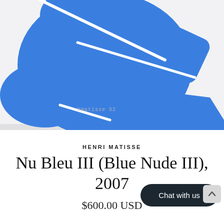[Figure (illustration): Cropped view of Henri Matisse Blue Nude III artwork — abstract blue organic cut-paper shape on white/light grey background, with white line divisions through the blue form. Handwritten signature 'hmatisse 52' visible in grey pencil near bottom of image area.]
HENRI MATISSE
Nu Bleu III (Blue Nude III), 2007
$600.00 USD
Chat with us